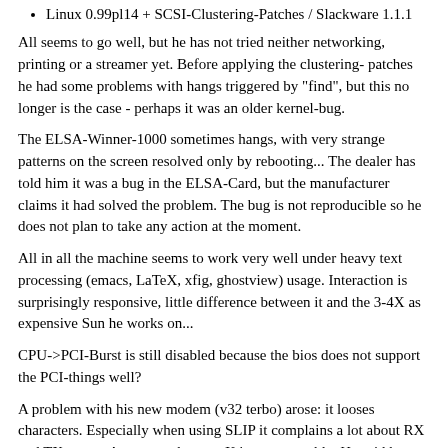Linux 0.99pl14 + SCSI-Clustering-Patches / Slackware 1.1.1
All seems to go well, but he has not tried neither networking, printing or a streamer yet. Before applying the clustering- patches he had some problems with hangs triggered by "find", but this no longer is the case - perhaps it was an older kernel-bug.
The ELSA-Winner-1000 sometimes hangs, with very strange patterns on the screen resolved only by rebooting... The dealer has told him it was a bug in the ELSA-Card, but the manufacturer claims it had solved the problem. The bug is not reproducible so he does not plan to take any action at the moment.
All in all the machine seems to work very well under heavy text processing (emacs, LaTeX, xfig, ghostview) usage. Interaction is surprisingly responsive, little difference between it and the 3-4X as expensive Sun he works on...
CPU->PCI-Burst is still disabled because the bios does not support the PCI-things well?
A problem with his new modem (v32 terbo) arose: it looses characters. Especially when using SLIP it complains a lot about RX and TX errors. As soon as he runs X it gets unusable. He said he activated FIFO and RTS/CTS with stty, but to no avail...